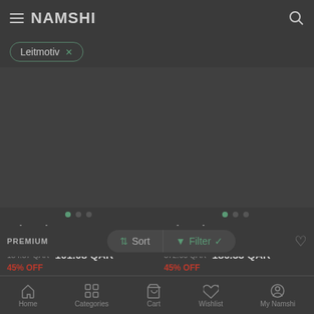NAMSHI
Leitmotiv ×
[Figure (screenshot): Product image area for Leitmotiv Jungle Green Glass Bell Table Lamp with carousel dots]
Leitmotiv
Jungle Green Glass Bell Table Lamp
184.37 QAR  101.08 QAR
[Figure (screenshot): Product image area for Leitmotiv Gaia Marble Printed Table Lamp with carousel dots]
Leitmotiv
Gaia Marble Printed Table Lamp
372.66 QAR  186.33 QAR
PREMIUM   Sort   Filter ✓
45% OFF   45% OFF
Home  Categories  Cart  Wishlist  My Namshi